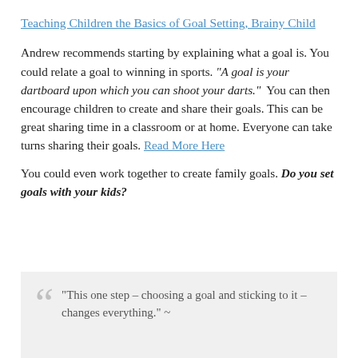Teaching Children the Basics of Goal Setting, Brainy Child
Andrew recommends starting by explaining what a goal is. You could relate a goal to winning in sports. “A goal is your dartboard upon which you can shoot your darts.”  You can then encourage children to create and share their goals. This can be great sharing time in a classroom or at home. Everyone can take turns sharing their goals. Read More Here
You could even work together to create family goals. Do you set goals with your kids?
“This one step – choosing a goal and sticking to it – changes everything.” ~